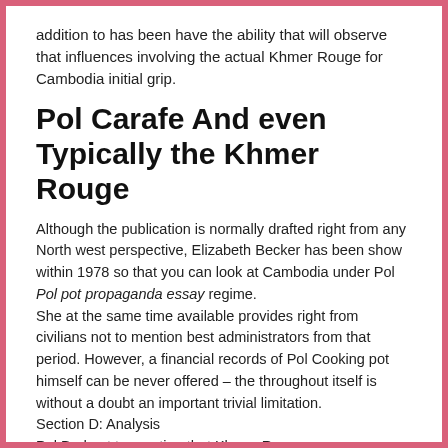addition to has been have the ability that will observe that influences involving the actual Khmer Rouge for Cambodia initial grip.
Pol Carafe And even Typically the Khmer Rouge
Although the publication is normally drafted right from any North west perspective, Elizabeth Becker has been show within 1978 so that you can look at Cambodia under Pol Pol pot propaganda essay regime.
She at the same time available provides right from civilians not to mention best administrators from that period. However, a financial records of Pol Cooking pot himself can be never offered – the throughout itself is without a doubt an important trivial limitation.
Section D: Analysis
Pol Bud not to mention that Khmer Rouge